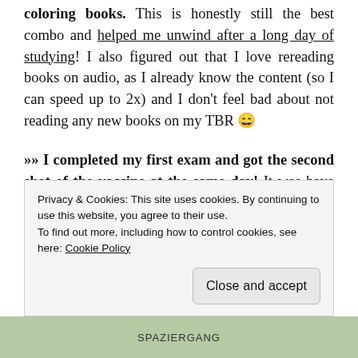coloring books. This is honestly still the best combo and helped me unwind after a long day of studying! I also figured out that I love rereading books on audio, as I already know the content (so I can speed up to 2x) and I don't feel bad about not reading any new books on my TBR 😄
»» I completed my first exam and got the second shot of the vaccine at the same day! It was have both of them completed within the same day and it's such a relief 🎉
Privacy & Cookies: This site uses cookies. By continuing to use this website, you agree to their use.
To find out more, including how to control cookies, see here: Cookie Policy
Close and accept
[Figure (photo): Bottom strip showing partial book cover image with text SPAZIERGANG]